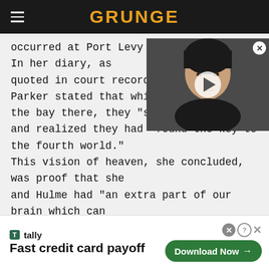GRUNGE
occurred at Port Levy on April 9, 1959. In her diary, as quoted in court records (via He[atnews]), Parker stated that while she a[nd Hulme were at] the bay there, they "saw a gat[e to heaven"] and realized they had "found the key to the fourth world." This vision of heaven, she concluded, was proof that she and Hulme had "an extra part of our brain which can appreciate the fourth world."
[Figure (photo): Video thumbnail showing a dark-haired woman with short hair, with a play button overlay. Close button (X) in top right corner.]
[Figure (infographic): Advertisement banner for Tally app: 'Fast credit card payoff' with Download Now button]